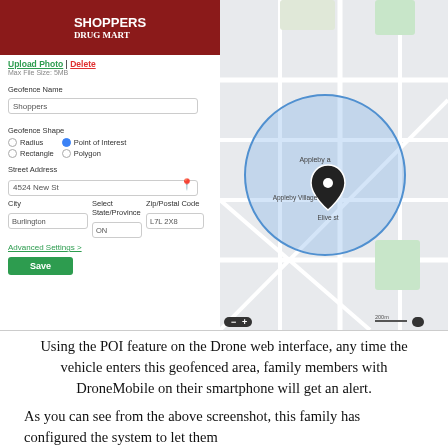[Figure (screenshot): Screenshot of a geofencing web interface showing a store photo of Shoppers Drug Mart, form fields for Geofence Name (Shoppers), Geofence Shape options (Radius, Rectangle, Point of Interest selected, Polygon), Street Address (4524 New St), City (Burlington), State/Province (ON), Zip/Postal Code (L7L 2X8), Advanced Settings link, Save button, and a map on the right showing a circular geofence area around a location.]
Using the POI feature on the Drone web interface, any time the vehicle enters this geofenced area, family members with DroneMobile on their smartphone will get an alert.
As you can see from the above screenshot, this family has configured the system to let them